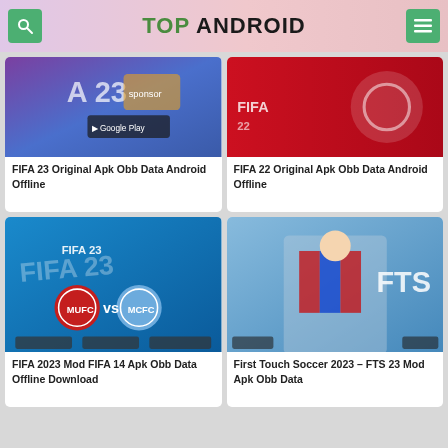TOP ANDROID
[Figure (screenshot): FIFA 23 game thumbnail with purple and blue background, Google Play badge visible]
FIFA 23 Original Apk Obb Data Android Offline
[Figure (screenshot): FIFA 22 game thumbnail with red background and player holding jersey]
FIFA 22 Original Apk Obb Data Android Offline
[Figure (screenshot): FIFA 2023 Mod FIFA 14 game thumbnail with blue background, Manchester United and Manchester City logos]
FIFA 2023 Mod FIFA 14 Apk Obb Data Offline Download
[Figure (screenshot): First Touch Soccer 2023 FTS 23 thumbnail with player in PSG/Barcelona kit and FTS logo]
First Touch Soccer 2023 – FTS 23 Mod Apk Obb Data